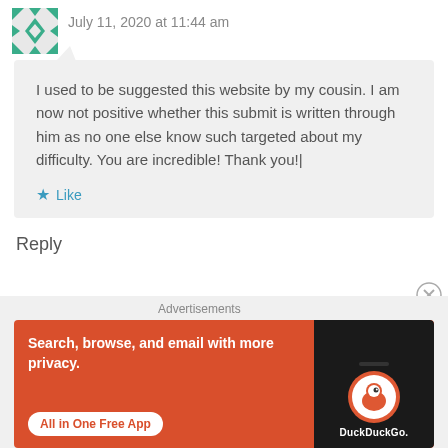July 11, 2020 at 11:44 am
I used to be suggested this website by my cousin. I am now not positive whether this submit is written through him as no one else know such targeted about my difficulty. You are incredible! Thank you!|
Like
Reply
Advertisements
[Figure (screenshot): DuckDuckGo advertisement banner with orange background showing 'Search, browse, and email with more privacy. All in One Free App' text and a phone mockup with DuckDuckGo logo]